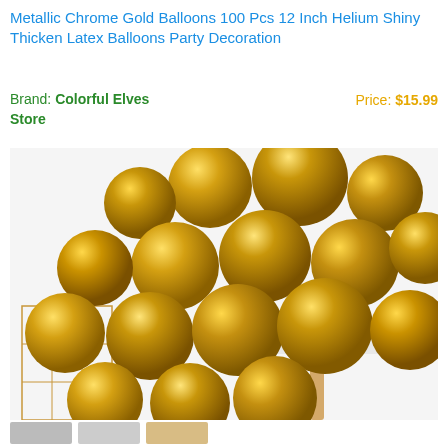Metallic Chrome Gold Balloons 100 Pcs 12 Inch Helium Shiny Thicken Latex Balloons Party Decoration
Brand: Colorful Elves Store    Price: $15.99
[Figure (photo): Large cluster of metallic chrome gold balloons arranged on and around a white table with a gold wire cube stand, photographed in a bright indoor setting.]